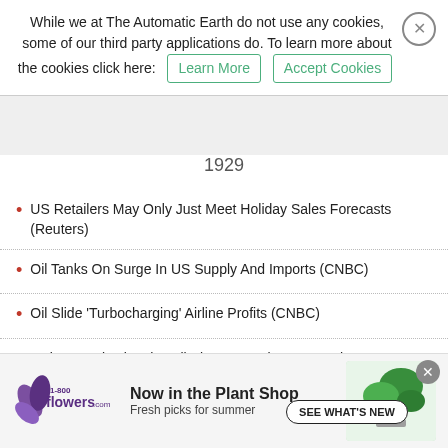While we at The Automatic Earth do not use any cookies, some of our third party applications do. To learn more about the cookies click here: Learn More   Accept Cookies
1929
US Retailers May Only Just Meet Holiday Sales Forecasts (Reuters)
Oil Tanks On Surge In US Supply And Imports (CNBC)
Oil Slide 'Turbocharging' Airline Profits (CNBC)
Make No Mistake, the Oil Slump Is Going to Hurt the US Too (Katusa)
France Has Never Had This Many Unemployed People Before (Reuters)
Why Everyone Is About To Rush Into Subprime Mortgage Debt – Again (Zero Hedge)
UK Growth Revised Down As Current Account Deficit Soars (Guardian)
[Figure (infographic): 1-800-flowers.com advertisement banner: 'Now in the Plant Shop - Fresh picks for summer' with SEE WHAT'S NEW button and plant image]